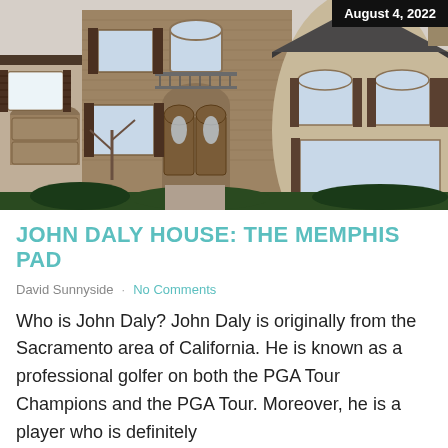[Figure (photo): Two-story brick and stucco house with arched wooden double front door, decorative shutters, balcony with iron railing, and circular tower section with conical roof. Date badge 'August 4, 2022' in top-right corner.]
JOHN DALY HOUSE: THE MEMPHIS PAD
David Sunnyside · No Comments
Who is John Daly? John Daly is originally from the Sacramento area of California. He is known as a professional golfer on both the PGA Tour Champions and the PGA Tour. Moreover, he is a player who is definitely